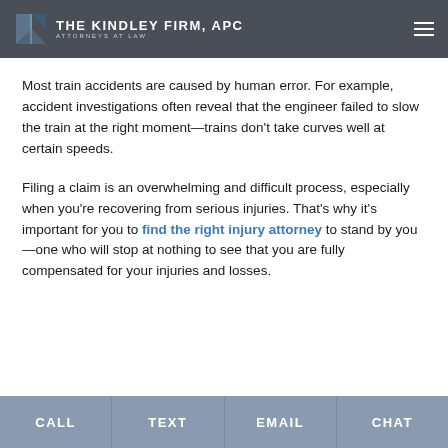THE KINDLEY FIRM, APC · ATTORNEYS AT LAW
Most train accidents are caused by human error. For example, accident investigations often reveal that the engineer failed to slow the train at the right moment—trains don't take curves well at certain speeds.
Filing a claim is an overwhelming and difficult process, especially when you're recovering from serious injuries. That's why it's important for you to find the right injury attorney to stand by you—one who will stop at nothing to see that you are fully compensated for your injuries and losses.
CALL | TEXT | EMAIL | CHAT